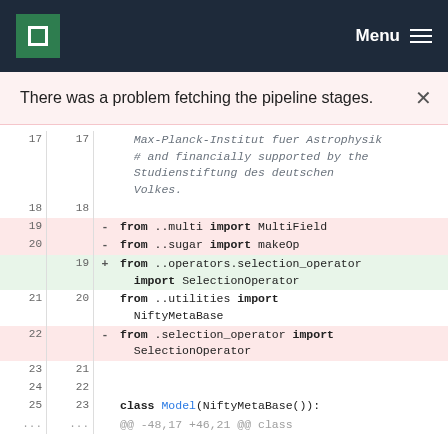MPCDF | Menu
There was a problem fetching the pipeline stages.
[Figure (screenshot): Code diff view showing changes to Python import statements. Lines 17-18 show comment text about Max-Planck-Institut fuer Astrophysik and Studienstiftung des deutschen Volkes. Lines 19-20 are deleted (red): 'from ..multi import MultiField' and 'from ..sugar import makeOp'. Line 19 (new) is added (green): 'from ..operators.selection_operator import SelectionOperator'. Lines 21/20 show: 'from ..utilities import NiftyMetaBase'. Line 22 is deleted: 'from .selection_operator import SelectionOperator'. Lines 23-25 / 21-23: blank lines then 'class Model(NiftyMetaBase):'  followed by '@@-48,17 +46,21 @@ class']